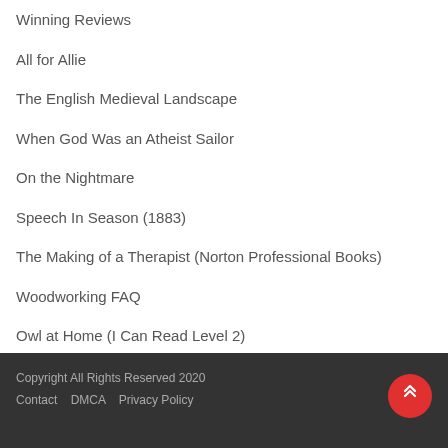Winning Reviews
All for Allie
The English Medieval Landscape
When God Was an Atheist Sailor
On the Nightmare
Speech In Season (1883)
The Making of a Therapist (Norton Professional Books)
Woodworking FAQ
Owl at Home (I Can Read Level 2)
Copyright All Rights Reserved 2020
Contact   DMCA   Privacy Policy